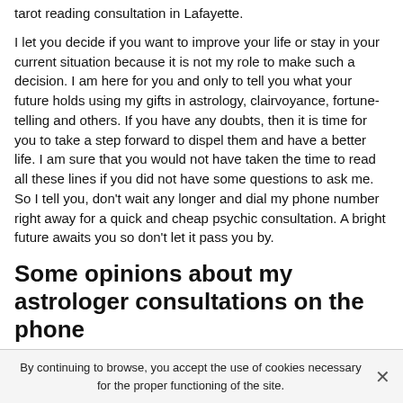tarot reading consultation in Lafayette.
I let you decide if you want to improve your life or stay in your current situation because it is not my role to make such a decision. I am here for you and only to tell you what your future holds using my gifts in astrology, clairvoyance, fortune-telling and others. If you have any doubts, then it is time for you to take a step forward to dispel them and have a better life. I am sure that you would not have taken the time to read all these lines if you did not have some questions to ask me. So I tell you, don't wait any longer and dial my phone number right away for a quick and cheap psychic consultation. A bright future awaits you so don't let it pass you by.
Some opinions about my astrologer consultations on the phone
By continuing to browse, you accept the use of cookies necessary for the proper functioning of the site.